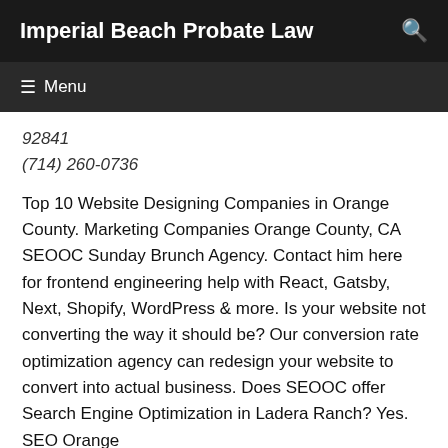Imperial Beach Probate Law
92841
(714) 260-0736
Top 10 Website Designing Companies in Orange County. Marketing Companies Orange County, CA SEOOC Sunday Brunch Agency. Contact him here for frontend engineering help with React, Gatsby, Next, Shopify, WordPress & more. Is your website not converting the way it should be? Our conversion rate optimization agency can redesign your website to convert into actual business. Does SEOOC offer Search Engine Optimization in Ladera Ranch? Yes. SEO Orange